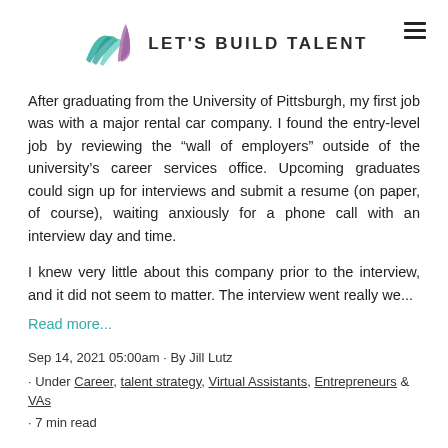LET'S BUILD TALENT
After graduating from the University of Pittsburgh, my first job was with a major rental car company. I found the entry-level job by reviewing the “wall of employers” outside of the university’s career services office. Upcoming graduates could sign up for interviews and submit a resume (on paper, of course), waiting anxiously for a phone call with an interview day and time.
I knew very little about this company prior to the interview, and it did not seem to matter. The interview went really we...
Read more...
Sep 14, 2021 05:00am · By Jill Lutz
· Under Career, talent strategy, Virtual Assistants, Entrepreneurs & VAs
· 7 min read